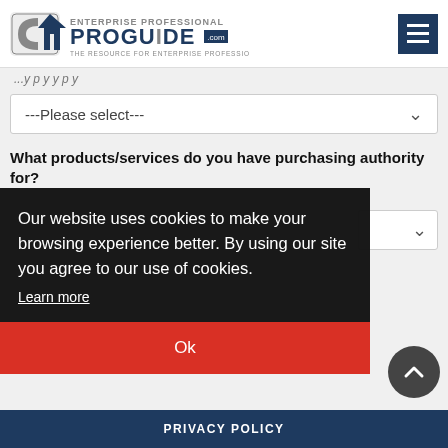[Figure (logo): Enterprise Professional ProGuide.com logo with house/arrow icon and tagline 'THE RESOURCE FOR ENTERPRISE PROFESSIONALS']
---Please select---
What products/services do you have purchasing authority for?
Our website uses cookies to make your browsing experience better. By using our site you agree to our use of cookies.
Learn more
Ok
PRIVACY POLICY